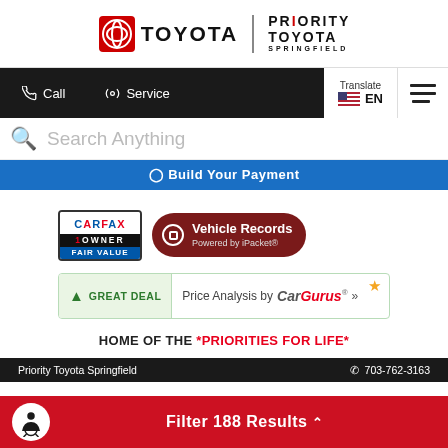[Figure (logo): Toyota logo with red circle emblem and 'TOYOTA' wordmark, divider line, and 'PRIORITY TOYOTA SPRINGFIELD' text]
[Figure (screenshot): Navigation bar with Call and Service buttons on dark background, Translate/EN flag selector, and hamburger menu]
Search Anything
Build Your Payment
[Figure (logo): CARFAX 1 OWNER FAIR VALUE badge]
[Figure (logo): Vehicle Records Powered by iPacket button]
[Figure (logo): GREAT DEAL - Price Analysis by CarGurus badge with star]
HOME OF THE *PRIORITIES FOR LIFE*
Priority Toyota Springfield   703-762-3163
Filter 188 Results